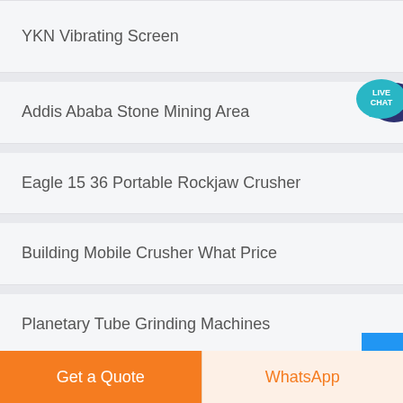YKN Vibrating Screen
Addis Ababa Stone Mining Area
Eagle 15 36 Portable Rockjaw Crusher
Building Mobile Crusher What Price
Planetary Tube Grinding Machines
[Figure (other): Live Chat speech bubble icon in teal/dark blue]
Get a Quote
WhatsApp